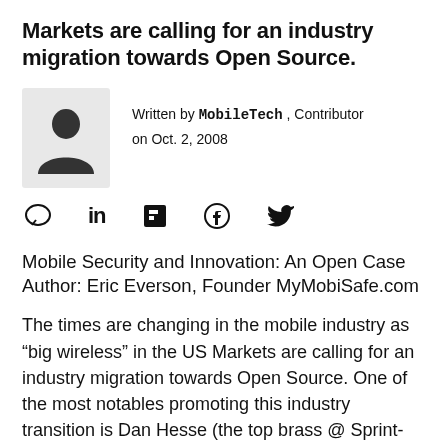Markets are calling for an industry migration towards Open Source.
[Figure (photo): Silhouette avatar/placeholder image of a person on a light grey background]
Written by MobileTech , Contributor
on Oct. 2, 2008
[Figure (infographic): Social sharing icons: comment bubble, LinkedIn, Flipboard, Facebook, Twitter]
Mobile Security and Innovation: An Open Case
Author: Eric Everson, Founder MyMobiSafe.com
The times are changing in the mobile industry as “big wireless” in the US Markets are calling for an industry migration towards Open Source. One of the most notables promoting this industry transition is Dan Hesse (the top brass @ Sprint-